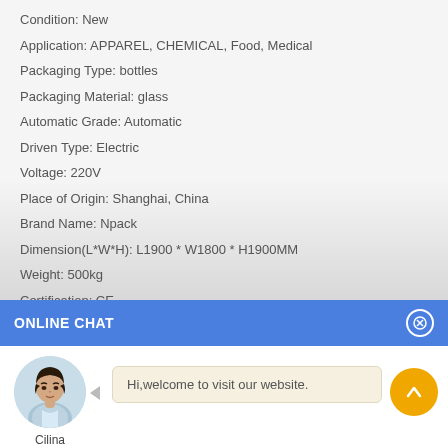Condition: New
Application: APPAREL, CHEMICAL, Food, Medical
Packaging Type: bottles
Packaging Material: glass
Automatic Grade: Automatic
Driven Type: Electric
Voltage: 220V
Place of Origin: Shanghai, China
Brand Name: Npack
Dimension(L*W*H): L1900 * W1800 * H1900MM
Weight: 500kg
Certification: CE
ONLINE CHAT
[Figure (photo): Avatar photo of a woman named Cilina wearing a white/blue shirt]
Cilina
Hi,welcome to visit our website.